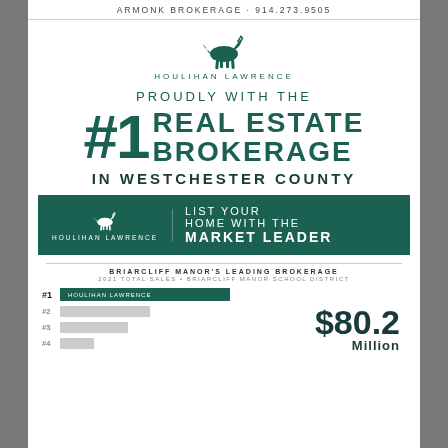ARMONK BROKERAGE · 914.273.9505
[Figure (logo): Houlihan Lawrence horse logo and brand name in teal]
PROUDLY WITH THE
#1 REAL ESTATE BROKERAGE
IN WESTCHESTER COUNTY
[Figure (infographic): Dark teal banner with Houlihan Lawrence logo on left and text: LIST YOUR HOME WITH THE MARKET LEADER on right]
BRIARCLIFF MANOR'S LEADING BROKERAGE
2021 TOTAL SALES • BRIARCLIFF MANOR SCHOOL DISTRICT
[Figure (bar-chart): Horizontal bar chart showing Houlihan Lawrence as #1 brokerage with longest teal bar, followed by 3 grey bars for competitors]
$80.2 Million